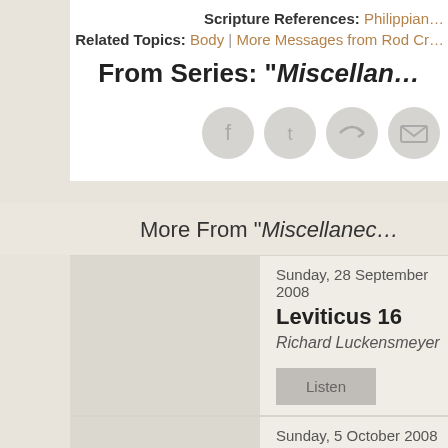Scripture References: Philippian…
Related Topics: Body | More Messages from Rod Cr…
From Series: "Miscellan…
[Figure (other): Social share icons: Facebook, Twitter, Share, Email]
More From "Miscellaned…
Sunday, 28 September 2008
Leviticus 16
Richard Luckensmeyer
Listen
Sunday, 5 October 2008